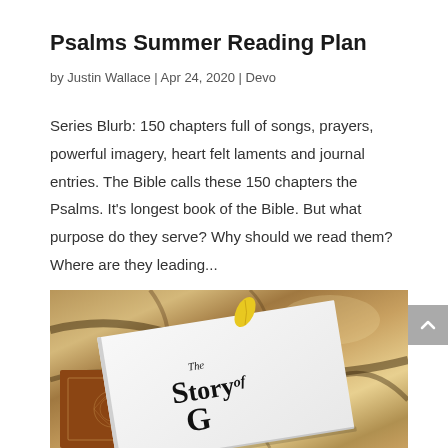Psalms Summer Reading Plan
by Justin Wallace | Apr 24, 2020 | Devo
Series Blurb: 150 chapters full of songs, prayers, powerful imagery, heart felt laments and journal entries. The Bible calls these 150 chapters the Psalms. It's longest book of the Bible. But what purpose do they serve? Why should we read them? Where are they leading...
[Figure (photo): A photo of a white book titled 'The Story of...' on a granite countertop, with a brown decorative leather book and a yellow leaf visible.]